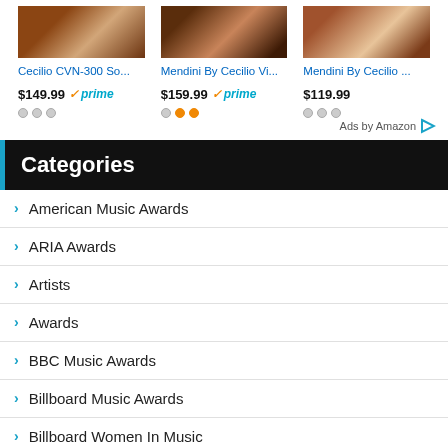[Figure (photo): Amazon ad - Cecilio CVN-300 violin product image]
[Figure (photo): Amazon ad - Mendini By Cecilio violin product image 1]
[Figure (photo): Amazon ad - Mendini By Cecilio violin product image 2]
Cecilio CVN-300 So...
Mendini By Cecilio Vi...
Mendini By Cecilio ...
$149.99 prime
$159.99 prime
$119.99
Ads by Amazon
Categories
American Music Awards
ARIA Awards
Artists
Awards
BBC Music Awards
Billboard Music Awards
Billboard Women In Music